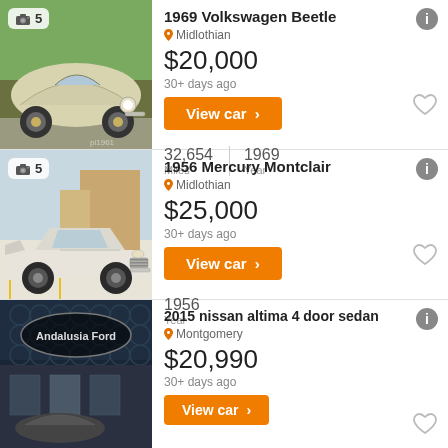[Figure (photo): 1969 Volkswagen Beetle, cream/white color, front 3/4 view, photo count badge showing 5]
1969 Volkswagen Beetle
Midlothian
$20,000
30+ days ago
View car >
32,654 Miles | 1969 Year
[Figure (photo): 1956 Mercury Montclair, white/cream color, front view, photo count badge showing 5]
1956 Mercury Montclair
Midlothian
$25,000
30+ days ago
View car >
1956 Year
[Figure (photo): 2015 Nissan Altima, Andalusia Ford dealer logo visible, dark background]
2015 nissan altima 4 door sedan
Montgomery
$20,990
30+ days ago